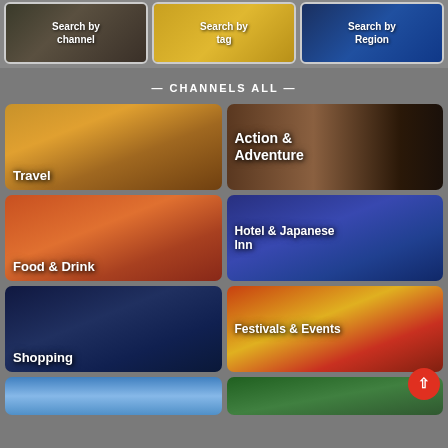[Figure (screenshot): Three navigation buttons: Search by channel, Search by tag, Search by Region]
— CHANNELS ALL —
[Figure (photo): Travel channel button with Japanese street scene]
[Figure (photo): Action & Adventure channel button with pottery hands]
[Figure (photo): Food & Drink channel button with sushi platter]
[Figure (photo): Hotel & Japanese Inn channel button with illuminated hotel building]
[Figure (photo): Shopping channel button with colorful city street]
[Figure (photo): Festivals & Events channel button with colorful festival imagery]
[Figure (photo): Partially visible bottom cell, blue sky]
[Figure (photo): Partially visible bottom cell, green background]